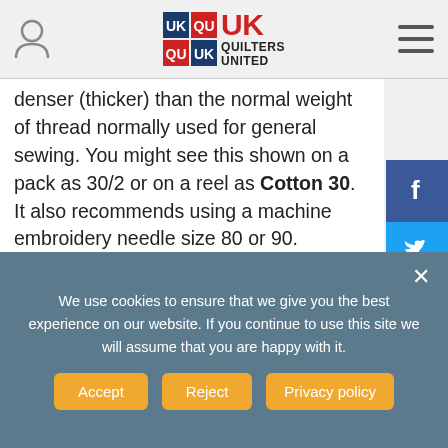UK Quilters United
denser (thicker) than the normal weight of thread normally used for general sewing. You might see this shown on a pack as 30/2 or on a reel as Cotton 30. It also recommends using a machine embroidery needle size 80 or 90. General polyester sewing threads are usually 50 weight; some do not even state the weight but will say whether it is a cotton or polyester/blend thread. Yes, it's a minefield out there!
[Figure (photo): Photo of thread spools — an orange thread spool on the left and multiple tan/brown thread strands on the right]
We use cookies to ensure that we give you the best experience on our website. If you continue to use this site we will assume that you are happy with it.